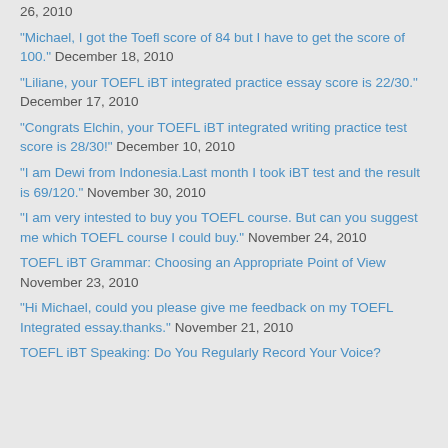26, 2010
“Michael, I got the Toefl score of 84 but I have to get the score of 100.” December 18, 2010
“Liliane, your TOEFL iBT integrated practice essay score is 22/30.” December 17, 2010
“Congrats Elchin, your TOEFL iBT integrated writing practice test score is 28/30!” December 10, 2010
“I am Dewi from Indonesia.Last month I took iBT test and the result is 69/120.” November 30, 2010
“I am very intested to buy you TOEFL course. But can you suggest me which TOEFL course I could buy.” November 24, 2010
TOEFL iBT Grammar: Choosing an Appropriate Point of View November 23, 2010
“Hi Michael, could you please give me feedback on my TOEFL Integrated essay.thanks.” November 21, 2010
TOEFL iBT Speaking: Do You Regularly Record Your Voice?